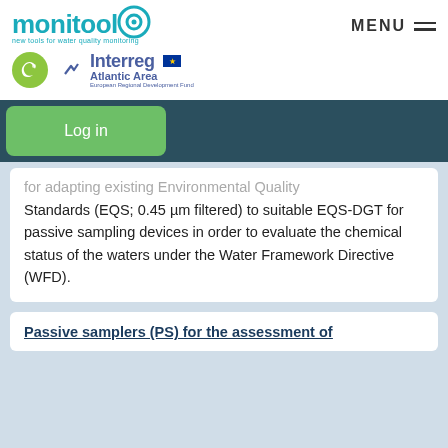[Figure (logo): Monitool logo with teal text and circular icon, tagline 'new tools for water quality monitoring']
[Figure (logo): Interreg Atlantic Area logo with blue text and EU flag]
Log in
for adapting existing Environmental Quality Standards (EQS; 0.45 µm filtered) to suitable EQS-DGT for passive sampling devices in order to evaluate the chemical status of the waters under the Water Framework Directive (WFD).
Passive samplers (PS) for the assessment of